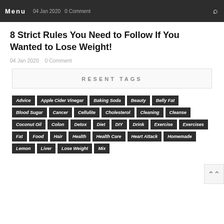Menu  04 Jan 2020  0 Comment
8 Strict Rules You Need to Follow If You Wanted to Lose Weight!
04 Jan 2020   0 Comment
RESENT TAGS
Advice
Apple Cider Vinegar
Baking Soda
Beauty
Belly Fat
Blood Sugar
Cancer
Cellulite
Cholesterol
Cleaning
Cleanse
Coconut Oil
Colon
Detox
Diet
DIY
Drink
Exercise
Exercises
Fat
Food
Hair
Health
Health Care
Heart Attack
Homemade
Lemon
Liver
Lose Weight
Mix